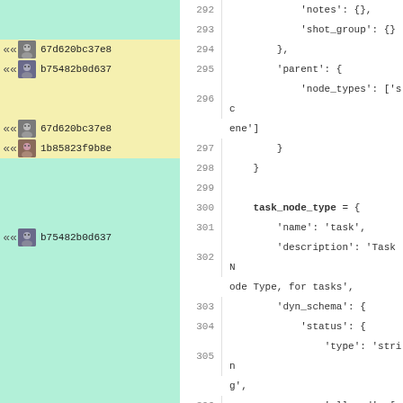[Figure (screenshot): Code diff/blame viewer showing left panel with commit avatars and IDs on colored (green/yellow) background rows, and right panel with line-numbered source code (Python/JSON-like) from lines 292-312.]